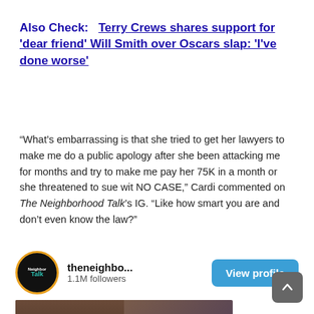Also Check:   Terry Crews shares support for 'dear friend' Will Smith over Oscars slap: 'I've done worse'
“What’s embarrassing is that she tried to get her lawyers to make me do a public apology after she been attacking me for months and try to make me pay her 75K in a month or she threatened to sue wit NO CASE,” Cardi commented on The Neighborhood Talk’s IG. “Like how smart you are and don’t even know the law?”
[Figure (screenshot): Instagram profile preview for theneighbo... with 1.1M followers, a View profile button, and a post thumbnail showing Candace Owens with overlay text 'Candace Owens Doesn't Think LeBron James Is Smart And Speaks On Cardi B']